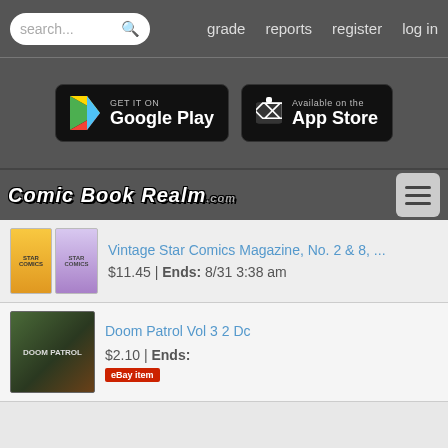search... | grade | reports | register | log in
[Figure (screenshot): Google Play and App Store download buttons on dark background]
[Figure (logo): Comic Book Realm .com logo with hamburger menu icon]
Vintage Star Comics Magazine, No. 2 & 8, ... $11.45 | Ends: 8/31 3:38 am
Doom Patrol Vol 3 2 Dc $2.10 | Ends: